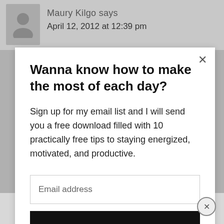Maury Kilgo says
April 12, 2012 at 12:39 pm
Wanna know how to make the most of each day?
Sign up for my email list and I will send you a free download filled with 10 practically free tips to staying energized, motivated, and productive.
Email address
Subscribe